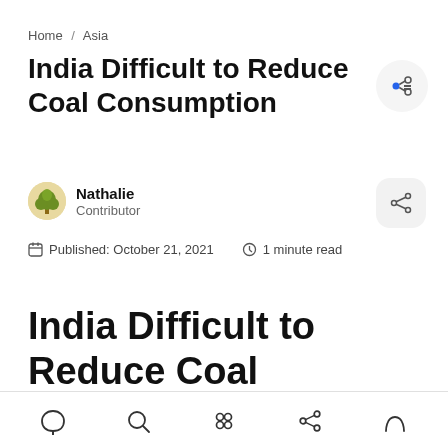Home / Asia
India Difficult to Reduce Coal Consumption
Nathalie
Contributor
Published: October 21, 2021   1 minute read
India Difficult to Reduce Coal Consumption